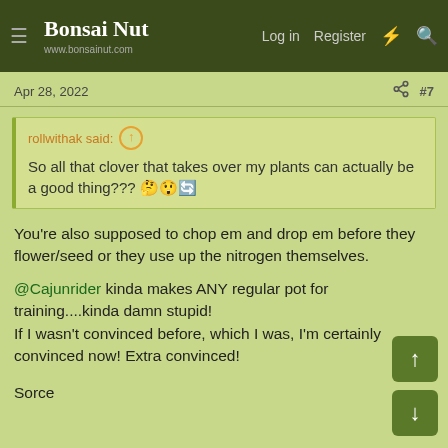Bonsai Nut — www.bonsainut.com | Log in | Register
Apr 28, 2022  #7
rollwithak said: ↑
So all that clover that takes over my plants can actually be a good thing??? 🤔😲🔄
You're also supposed to chop em and drop em before they flower/seed or they use up the nitrogen themselves.
@Cajunrider kinda makes ANY regular pot for training....kinda damn stupid!
If I wasn't convinced before, which I was, I'm certainly convinced now! Extra convinced!
Sorce